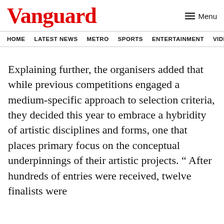Vanguard
Menu
HOME  LATEST NEWS  METRO  SPORTS  ENTERTAINMENT  VIDEOS
Explaining further, the organisers added that while previous competitions engaged a medium-specific approach to selection criteria, they decided this year to embrace a hybridity of artistic disciplines and forms, one that places primary focus on the conceptual underpinnings of their artistic projects. “ After hundreds of entries were received, twelve finalists were